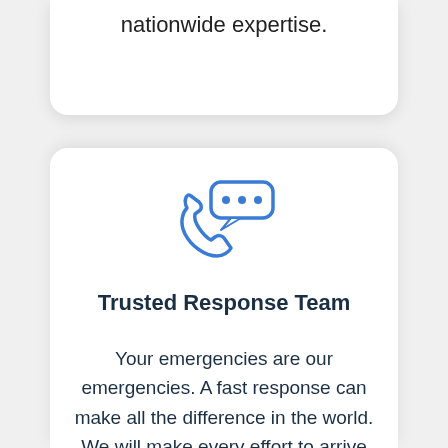nationwide expertise.
[Figure (illustration): Blue phone handset with speech bubble containing three dots icon]
Trusted Response Team
Your emergencies are our emergencies. A fast response can make all the difference in the world. We will make every effort to arrive quickly and